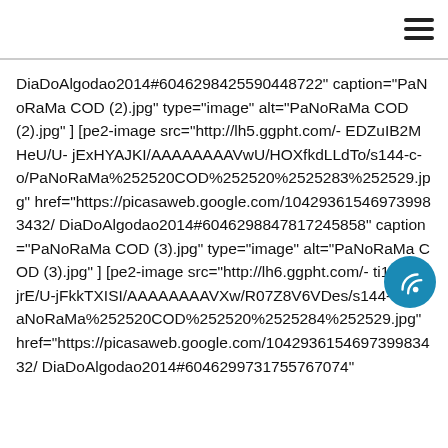DiaDoAlgodao2014#6046298425590448722" caption="PaNoRaMa COD (2).jpg" type="image" alt="PaNoRaMa COD (2).jpg" ] [pe2-image src="http://lh5.ggpht.com/-EDZuIB2MHeU/U-jExHYAJKI/AAAAAAAAVwU/HOXfkdLLdTo/s144-c-o/PaNoRaMa%252520COD%252520%2525283%252529.jpg" href="https://picasaweb.google.com/104293615469739983432/DiaDoAlgodao2014#6046298847817245858" caption="PaNoRaMa COD (3).jpg" type="image" alt="PaNoRaMa COD (3).jpg" ] [pe2-image src="http://lh6.ggpht.com/-ti10_KfJjrE/U-jFkkTXISI/AAAAAAAAVXw/R07Z8V6VDes/s144-c-o/PaNoRaMa%252520COD%252520%2525284%252529.jpg" href="https://picasaweb.google.com/104293615469739983432/DiaDoAlgodao2014#6046299731755767074"